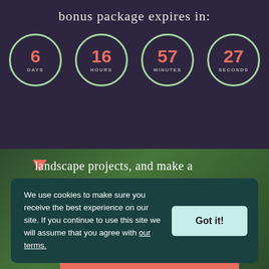bonus package expires in:
[Figure (infographic): Countdown timer showing 6 DAYS, 16 HOURS, 57 MINUTES, 27 SECONDS displayed in green-outlined circles with coral/red numbers on a dark purple background]
landscape projects, and make a plan so you can start creating your big vision and make a budget that makes sense.
We use cookies to make sure you receive the best experience on our site. If you continue to use this site we will assume that you agree with our terms.